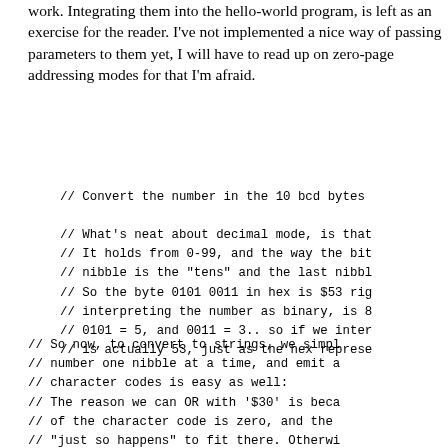work. Integrating them into the hello-world program, is left as an exercise for the reader. I've not implemented a nice way of passing parameters to them yet, I will have to read up on zero-page addressing modes for that I'm afraid.
// Convert the number in the 10 bcd bytes
// What's neat about decimal mode, is that
// It holds from 0-99, and the way the bit
// nibble is the "tens" and the last nibbl
// So the byte 0101 0011 in hex is $53 rig
// interpreting the number as binary, is 8
// 0101 = 5, and 0011 = 3.. so if we inter
// is actually 53, just as the hex represe
// So now, to convert to strings, we simpl
// number one nibble at a time, and emit a
// character codes is easy as well:
// The reason we can OR with '$30' is beca
// of the character code is zero, and the
// "just so happens" to fit there. Otherwi
// The logic is: $30 = 0011 0000 = '0' so